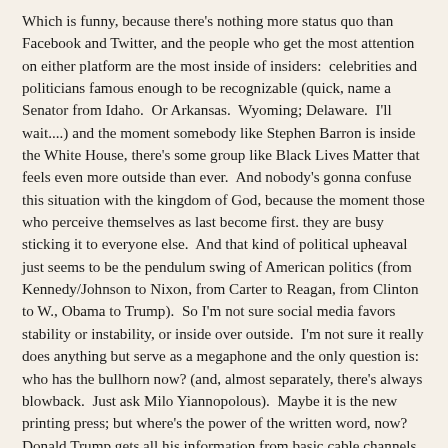Which is funny, because there's nothing more status quo than Facebook and Twitter, and the people who get the most attention on either platform are the most inside of insiders:  celebrities and politicians famous enough to be recognizable (quick, name a Senator from Idaho.  Or Arkansas.  Wyoming; Delaware.  I'll wait....) and the moment somebody like Stephen Barron is inside the White House, there's some group like Black Lives Matter that feels even more outside than ever.  And nobody's gonna confuse this situation with the kingdom of God, because the moment those who perceive themselves as last become first. they are busy sticking it to everyone else.  And that kind of political upheaval just seems to be the pendulum swing of American politics (from Kennedy/Johnson to Nixon, from Carter to Reagan, from Clinton to W., Obama to Trump).  So I'm not sure social media favors stability or instability, or inside over outside.  I'm not sure it really does anything but serve as a megaphone and the only question is:  who has the bullhorn now? (and, almost separately, there's always blowback.  Just ask Milo Yiannopolous).  Maybe it is the new printing press; but where's the power of the written word, now?  Donald Trump gets all his information from basic cable channels, and newspapers are dinosaurs.  And besides, Trump has an